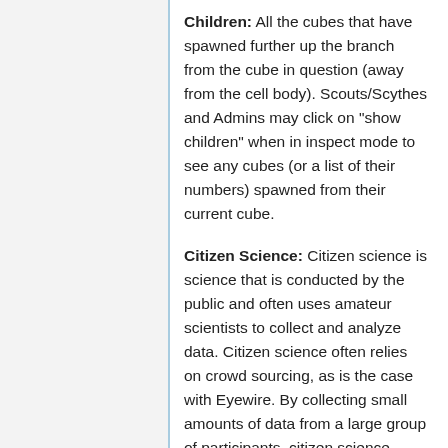Children: All the cubes that have spawned further up the branch from the cube in question (away from the cell body). Scouts/Scythes and Admins may click on "show children" when in inspect mode to see any cubes (or a list of their numbers) spawned from their current cube.
Citizen Science: Citizen science is science that is conducted by the public and often uses amateur scientists to collect and analyze data. Citizen science often relies on crowd sourcing, as is the case with Eyewire. By collecting small amounts of data from a large group of participants, citizen science provides and effective way to expand and improve on current research projects. EyeWire is one of many citizen science projects.